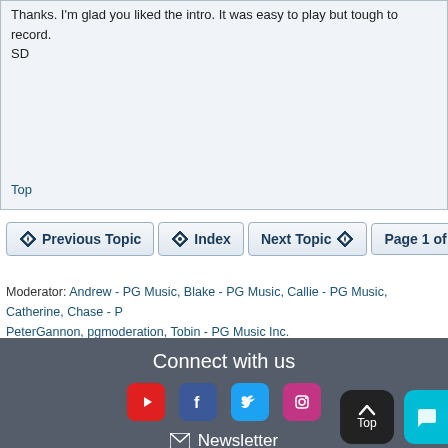Thanks. I'm glad you liked the intro. It was easy to play but tough to record.
SD
Top
Previous Topic   Index   Next Topic   Page 1 of 2
Moderator: Andrew - PG Music, Blake - PG Music, Callie - PG Music, Catherine, Chase - P... PeterGannon, pgmoderation, Tobin - PG Music Inc.
Connect with us
[Figure (infographic): Social media icons: YouTube, Facebook, Twitter, Instagram]
Newsletter
Top